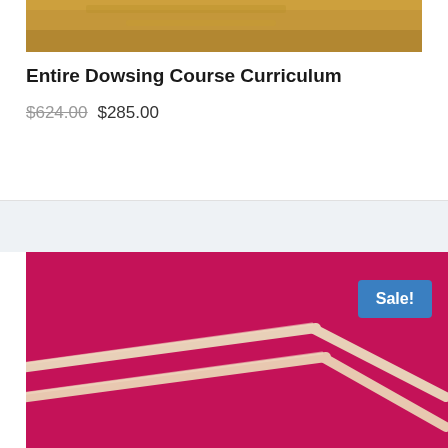[Figure (photo): Top portion of a product listing card showing a golden/wooden surface at the top — partial product image cropped]
Entire Dowsing Course Curriculum
$624.00 $285.00
[Figure (photo): Photo of two L-shaped copper dowsing rods laid on a bright magenta/red fabric background. A blue 'Sale!' badge appears in the upper right corner of the image.]